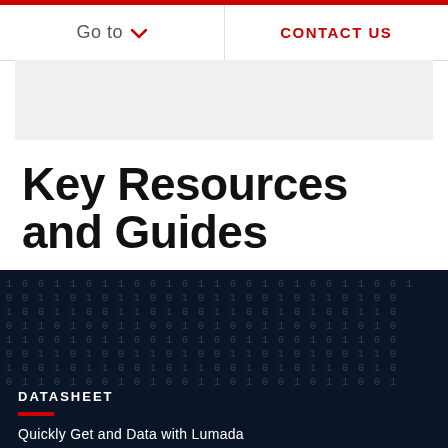Go to  ▾  |  CONTACT US
Key Resources and Guides
[Figure (photo): Dark blue digital background with binary code (0s and 1s) overlaid, with faint geometric wireframe shapes visible]
DATASHEET
Quickly Get and Data with Lumada...